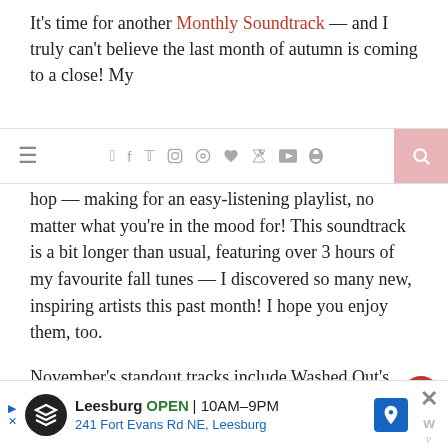It's time for another Monthly Soundtrack — and I truly can't believe the last month of autumn is coming to a close! My
[Figure (screenshot): Navigation bar with hamburger menu icon on left, social media icons (Facebook, Twitter, Instagram, Pinterest, heart, YouTube, RSS) in center, and pink search button on right]
hop — making for an easy-listening playlist, no matter what you're in the mood for! This soundtrack is a bit longer than usual, featuring over 3 hours of my favourite fall tunes — I discovered so many new, inspiring artists this past month! I hope you enjoy them, too.
November's standout tracks include Washed Out's Chimes
Privacy & Cookies: This site uses cookies. By continuing to use this website, you agree to their use.
To find out more, including how to control cookies, see here: Privacy Policy
[Figure (infographic): Advertisement bar for Leesburg store with logo, open hours 10AM-9PM, address 241 Fort Evans Rd NE Leesburg, navigation icon, close button]